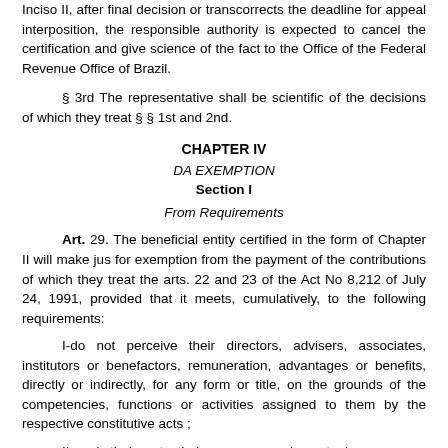Inciso II, after final decision or transcorrects the deadline for appeal interposition, the responsible authority is expected to cancel the certification and give science of the fact to the Office of the Federal Revenue Office of Brazil.
§ 3rd The representative shall be scientific of the decisions of which they treat § § 1st and 2nd.
CHAPTER IV
DA EXEMPTION
Section I
From Requirements
Art. 29. The beneficial entity certified in the form of Chapter II will make jus for exemption from the payment of the contributions of which they treat the arts. 22 and 23 of the Act No 8,212 of July 24, 1991, provided that it meets, cumulatively, to the following requirements:
I-do not perceive their directors, advisers, associates, institutors or benefactors, remuneration, advantages or benefits, directly or indirectly, for any form or title, on the grounds of the competencies, functions or activities assigned to them by the respective constitutive acts ;
II-apply their rents, their resources and eventual